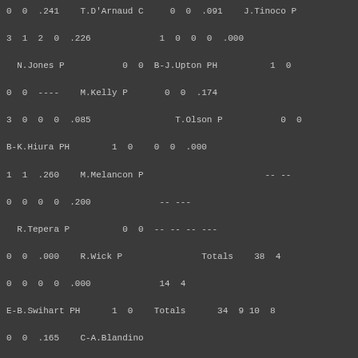| 0  0  .241    T.D'Arnaud C | 0  0  .091    J.Tinoco P |
| 3  1  2  0  .226 | 1  0  0  0  .000 |
|   N.Jones P           0  0 | B-J.Upton PH          1  0 |
| 0  0  ----    M.Kelly P | 0  0  .174 |
| 3  0  0  0  .085 |   T.Olson P           0  0 |
| B-K.Hiura PH        1  0 | 0  0  .000 |
| 1  1  .260    M.Melancon P |                    -- -- |
| 0  0  0  0  .200 | -- --- |
|   R.Tepera P          0  0 | -- -- -- --- |
| 0  0  .000    R.Wick P |          Totals    38  4 |
| 0  0  0  0  .000 | 14  4 |
| E-B.Swihart PH      1  0 | Totals      34  9 10  8 |
| 0  0  .165    C-A.Blandino |  |
| 1B         1  0  0  0  .130 | A-Pinch Hit For Rodriguez |
|   F.Rodney P          0  0 | In 6th Inning |
| 0  0  .250 | B-Pinch Hit For Beeks In |
|                    -- -- | 8th Inning |
| -- --- |  |
| -- -- -- --- | Nationals....... 1 1 0  0 0 |
|          Totals    38  7 | 0  1 1  0  -  4 14  1 |
| 12  7 | Rockies          2 3 0  1 0 |